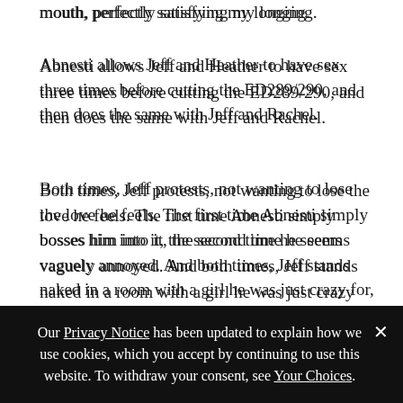mouth, perfectly satisfying my longing.
Abnesti allows Jeff and Heather to have sex three times before cutting the ED289/290, and then does the same with Jeff and Rachel.
Both times, Jeff protests, not wanting to lose the love he feels. The first time Abnesti simply bosses him into it, the second time he seems vaguely annoyed. And both times, Jeff stands naked in a room with a girl he was just crazy for, and tries to talk about how it feels as his love ebbs away into nothing.
He tries to talk about it, but can't, because Abnesti also cut the Verbaluce™.
Our Privacy Notice has been updated to explain how we use cookies, which you accept by continuing to use this website. To withdraw your consent, see Your Choices.